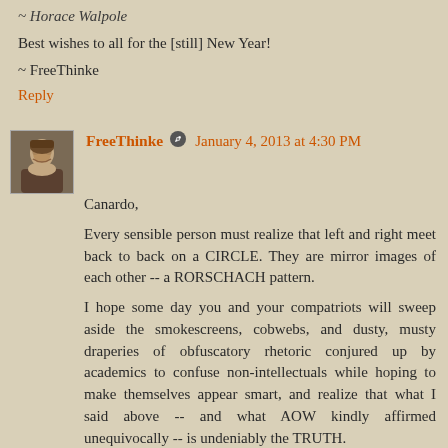~ Horace Walpole
Best wishes to all for the [still] New Year!
~ FreeThinke
Reply
[Figure (photo): Avatar portrait of FreeThinke, a bearded man in historical attire]
FreeThinke • January 4, 2013 at 4:30 PM
Canardo,

Every sensible person must realize that left and right meet back to back on a CIRCLE. They are mirror images of each other -- a RORSCHACH pattern.

I hope some day you and your compatriots will sweep aside the smokescreens, cobwebs, and dusty, musty draperies of obfuscatory rhetoric conjured up by academics to confuse non-intellectuals while hoping to make themselves appear smart, and realize that what I said above -- and what AOW kindly affirmed unequivocally -- is undeniably the TRUTH.